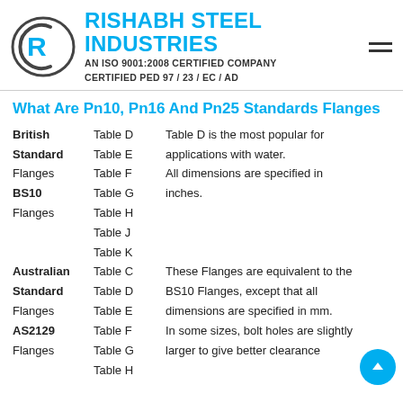[Figure (logo): Rishabh Steel Industries logo with circular emblem containing stylized R letter]
RISHABH STEEL INDUSTRIES
AN ISO 9001:2008 CERTIFIED COMPANY CERTIFIED PED 97 / 23 / EC / AD
What Are Pn10, Pn16 And Pn25 Standards Flanges
British Table D Table D is the most popular for Standard Table E applications with water. Flanges Table F All dimensions are specified in BS10 Table G inches. Flanges Table H Table J Table K Australian Table C These Flanges are equivalent to the Standard Table D BS10 Flanges, except that all Flanges Table E dimensions are specified in mm. AS2129 Table F In some sizes, bolt holes are slightly Flanges Table G larger to give better clearance. Table H